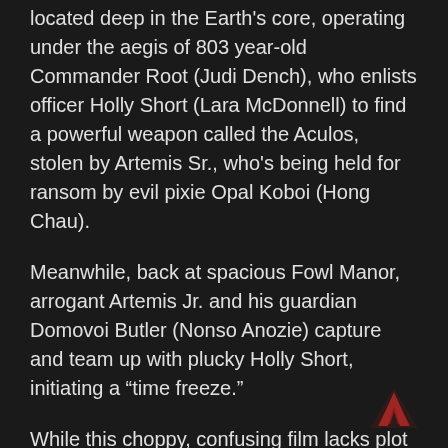located deep in the Earth's core, operating under the aegis of 803 year-old Commander Root (Judi Dench), who enlists officer Holly Short (Lara McDonnell) to find a powerful weapon called the Aculos, stolen by Artemis Sr., who's being held for ransom by evil pixie Opal Koboi (Hong Chau).
Meanwhile, back at spacious Fowl Manor, arrogant Artemis Jr. and his guardian Domovoi Butler (Nonso Anozie) capture and team up with plucky Holly Short, initiating a “time freeze.”
While this choppy, confusing film lacks plot cohesion, character delineation and concept development, it boasts a dense abundance of visual effects, including the pointless introduction of fanciful Irish folkloric creatures like dwarfs, leprechauns, trolls, centaurs and goblins.
[Figure (other): A dark red/maroon upward-pointing chevron/arrow icon at the bottom right corner of the page, serving as a scroll-to-top button.]